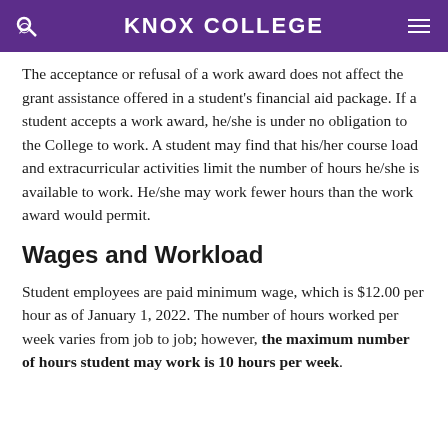KNOX COLLEGE
The acceptance or refusal of a work award does not affect the grant assistance offered in a student's financial aid package. If a student accepts a work award, he/she is under no obligation to the College to work. A student may find that his/her course load and extracurricular activities limit the number of hours he/she is available to work. He/she may work fewer hours than the work award would permit.
Wages and Workload
Student employees are paid minimum wage, which is $12.00 per hour as of January 1, 2022. The number of hours worked per week varies from job to job; however, the maximum number of hours student may work is 10 hours per week.